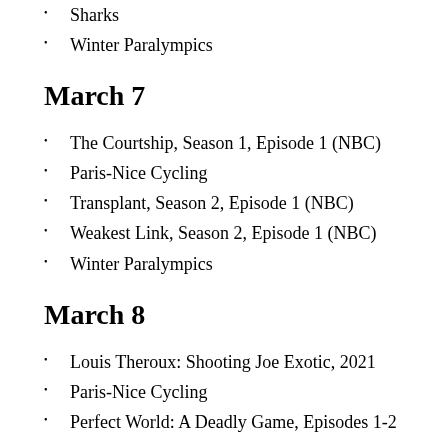Sharks
Winter Paralympics
March 7
The Courtship, Season 1, Episode 1 (NBC)
Paris-Nice Cycling
Transplant, Season 2, Episode 1 (NBC)
Weakest Link, Season 2, Episode 1 (NBC)
Winter Paralympics
March 8
Louis Theroux: Shooting Joe Exotic, 2021
Paris-Nice Cycling
Perfect World: A Deadly Game, Episodes 1-2